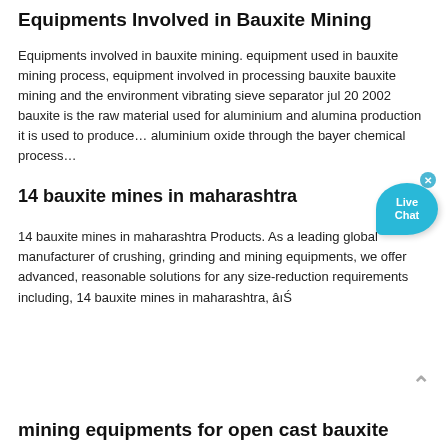Equipments Involved in Bauxite Mining
Equipments involved in bauxite mining. equipment used in bauxite mining process, equipment involved in processing bauxite bauxite mining and the environment vibrating sieve separator jul 20 2002 bauxite is the raw material used for aluminium and alumina production it is used to produce… aluminium oxide through the bayer chemical process…
14 bauxite mines in maharashtra
14 bauxite mines in maharashtra Products. As a leading global manufacturer of crushing, grinding and mining equipments, we offer advanced, reasonable solutions for any size-reduction requirements including, 14 bauxite mines in maharashtra, â¦Ś
mining equipments for open cast bauxite